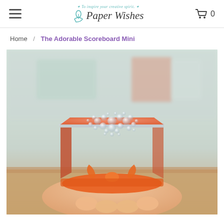Paper Wishes — To inspire your creative spirit. Cart: 0
Home / The Adorable Scoreboard Mini
[Figure (photo): A small orange decorative box with iridescent pearl/bubble embellishments arranged in a snowflake pattern on the lid, tied with an orange satin ribbon bow, held in someone's hands against a soft blurred background.]